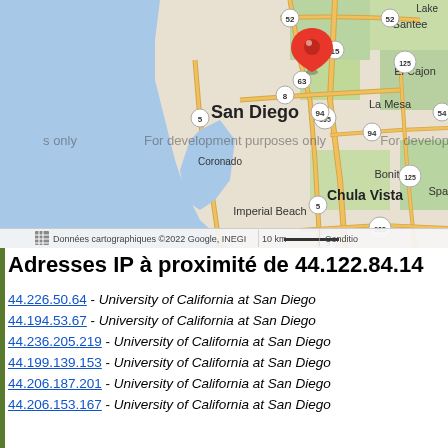[Figure (map): Google Maps screenshot showing San Diego area with a red location pin marker. Map shows surrounding cities including Santee, El Cajon, La Mesa, Coronado, Bonita, Chula Vista, Imperial Beach. Roads and highways visible including routes 52, 15, 163, 805, 94, 125, 54, 905. Watermarked with 'For development purposes only'. Caption at bottom reads 'Données cartographiques ©2022 Google, INEGI | 10 km | Conditions']
Adresses IP à proximité de 44.122.84.14
44.226.50.64 - University of California at San Diego
44.194.53.67 - University of California at San Diego
44.236.205.219 - University of California at San Diego
44.199.139.153 - University of California at San Diego
44.206.187.201 - University of California at San Diego
44.206.153.167 - University of California at San Diego